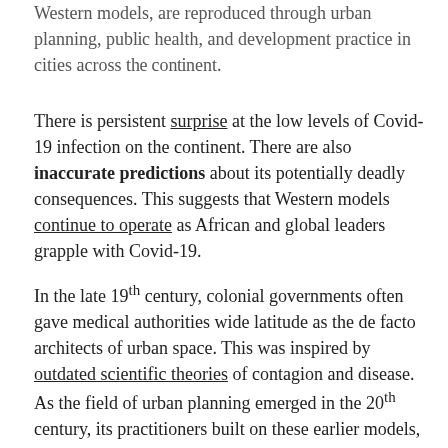Western models, are reproduced through urban planning, public health, and development practice in cities across the continent.
There is persistent surprise at the low levels of Covid-19 infection on the continent. There are also inaccurate predictions about its potentially deadly consequences. This suggests that Western models continue to operate as African and global leaders grapple with Covid-19.
In the late 19th century, colonial governments often gave medical authorities wide latitude as the de facto architects of urban space. This was inspired by outdated scientific theories of contagion and disease. As the field of urban planning emerged in the 20th century, its practitioners built on these earlier models, reinforcing existing patterns of racial segregation and economic inequality.